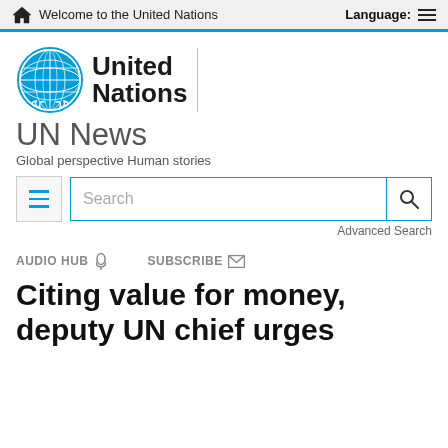Welcome to the United Nations   Language:
[Figure (logo): United Nations emblem (globe with olive branches, blue) and 'United Nations' text logo]
UN News
Global perspective Human stories
[Figure (screenshot): Search bar with menu button, text input placeholder 'Search', and magnifying glass button]
Advanced Search
AUDIO HUB  SUBSCRIBE
Citing value for money, deputy UN chief urges